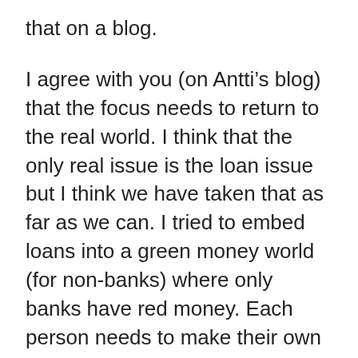that on a blog.
I agree with you (on Antti’s blog) that the focus needs to return to the real world. I think that the only real issue is the loan issue but I think we have taken that as far as we can. I tried to embed loans into a green money world (for non-banks) where only banks have red money. Each person needs to make their own assessment on whether that is successful.
I have added your blog to my (already far too long) reading list, so I will try to keep up with your thoughts. I don’t post